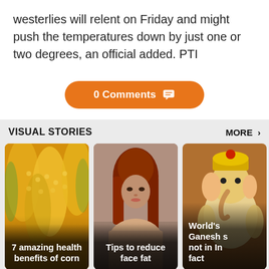westerlies will relent on Friday and might push the temperatures down by just one or two degrees, an official added. PTI
0 Comments
VISUAL STORIES
MORE >
[Figure (photo): Close-up of yellow corn on the cob with caption: 7 amazing health benefits of corn]
[Figure (photo): Portrait of a woman with red hair looking over her shoulder with caption: Tips to reduce face fat]
[Figure (photo): Ganesh idol with partial caption: World's Ganesh s not in In fact]